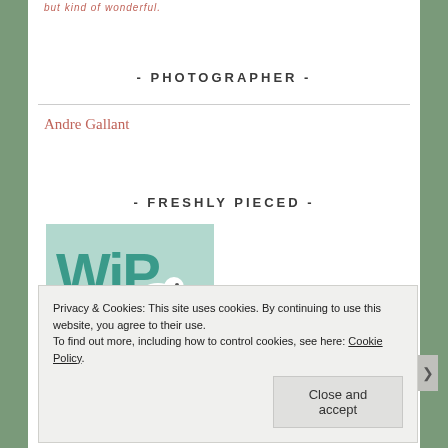but kind of wonderful.
- PHOTOGRAPHER -
Andre Gallant
- FRESHLY PIECED -
[Figure (logo): WiP Wednesday logo on mint/light teal background with white bird illustration and script text reading 'WiP wednesday at']
Privacy & Cookies: This site uses cookies. By continuing to use this website, you agree to their use.
To find out more, including how to control cookies, see here: Cookie Policy
Close and accept